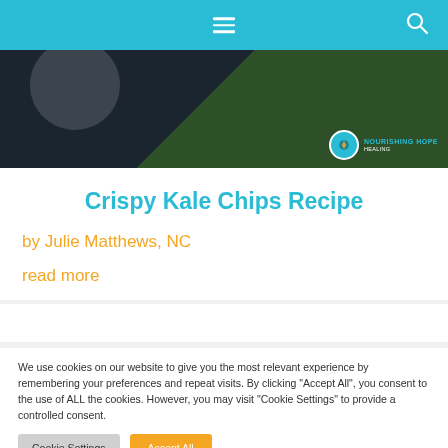Navigation header with hamburger menu and search icon
[Figure (photo): Hero image of kale chips on a dark background with Nourishing Hope logo overlay]
Crispy Kale Chips Recipe
by Julie Matthews, NC
read more
We use cookies on our website to give you the most relevant experience by remembering your preferences and repeat visits. By clicking "Accept All", you consent to the use of ALL the cookies. However, you may visit "Cookie Settings" to provide a controlled consent.
Cookie Settings | Accept All